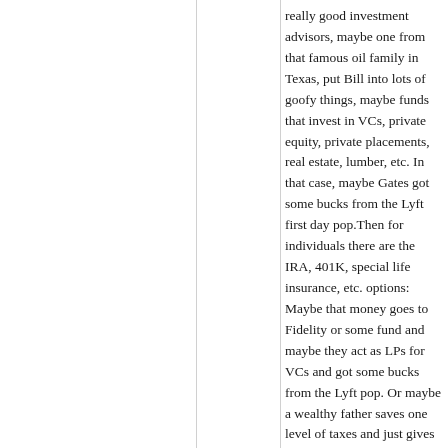really good investment advisors, maybe one from that famous oil family in Texas, put Bill into lots of goofy things, maybe funds that invest in VCs, private equity, private placements, real estate, lumber, etc. In that case, maybe Gates got some bucks from the Lyft first day pop.Then for individuals there are the IRA, 401K, special life insurance, etc. options: Maybe that money goes to Fidelity or some fund and maybe they act as LPs for VCs and got some bucks from the Lyft pop. Or maybe a wealthy father saves one level of taxes and just gives his children cash, gold coins, loans, etc Again I just don't have